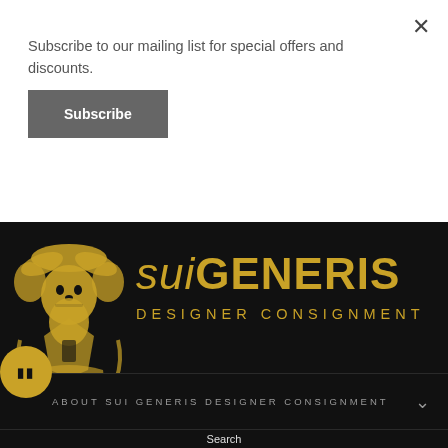Subscribe to our mailing list for special offers and discounts.
Subscribe
[Figure (logo): Sui Generis Designer Consignment ornate golden crest/emblem logo with skull and decorative elements]
suiGENERIS DESIGNER CONSIGNMENT
ABOUT SUI GENERIS DESIGNER CONSIGNMENT
Search
Consign with Us
About Us
Contact Us